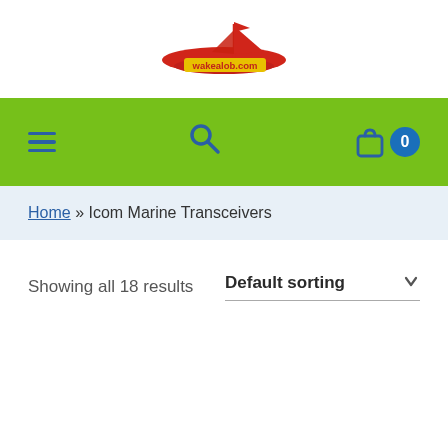[Figure (logo): wakealob.com logo — red speedboat with sail graphic above the yellow text 'wakealob.com' on a red banner]
[Figure (screenshot): Green navigation bar with hamburger menu icon on left, search icon in center, shopping bag icon and blue circle with '0' on right]
Home » Icom Marine Transceivers
Showing all 18 results
Default sorting